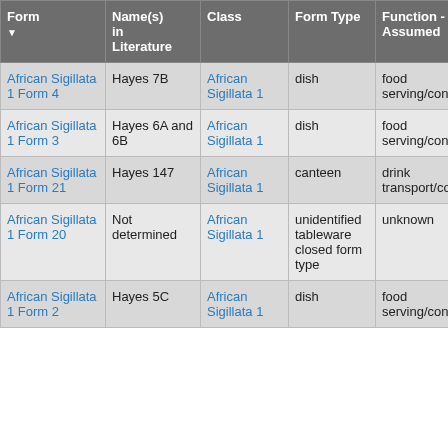| Form | Name(s) in Literature | Class | Form Type | Function - Assumed | P... |
| --- | --- | --- | --- | --- | --- |
| African Sigillata 1 Form 4 | Hayes 7B | African Sigillata 1 | dish | food serving/consumption | N T |
| African Sigillata 1 Form 3 | Hayes 6A and 6B | African Sigillata 1 | dish | food serving/consumption | N T |
| African Sigillata 1 Form 21 | Hayes 147 | African Sigillata 1 | canteen | drink transport/consumption | N T |
| African Sigillata 1 Form 20 | Not determined | African Sigillata 1 | unidentified tableware closed form type | unknown | N T |
| African Sigillata 1 Form 2 | Hayes 5C | African Sigillata 1 | dish | food serving/consumption | N T |